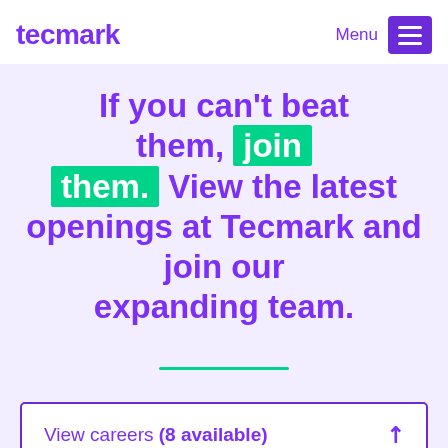tecmark | Menu
If you can't beat them, join them. View the latest openings at Tecmark and join our expanding team.
View careers (8 available)
Call us today | Email us today